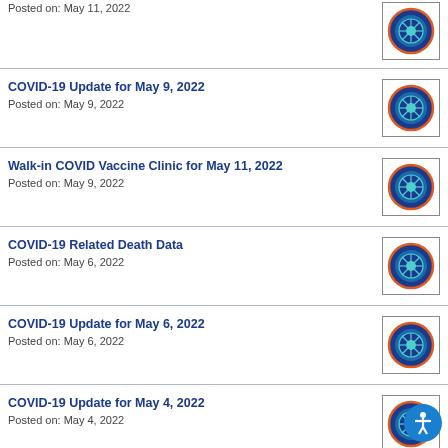Posted on: May 11, 2022
COVID-19 Update for May 9, 2022
Posted on: May 9, 2022
Walk-in COVID Vaccine Clinic for May 11, 2022
Posted on: May 9, 2022
COVID-19 Related Death Data
Posted on: May 6, 2022
COVID-19 Update for May 6, 2022
Posted on: May 6, 2022
COVID-19 Update for May 4, 2022
Posted on: May 4, 2022